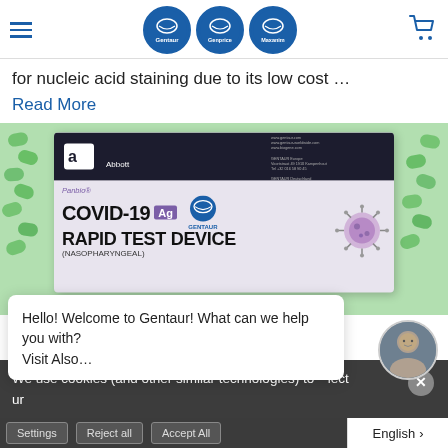Gentaur / Genprice / Maxanim header with navigation and cart
for nucleic acid staining due to its low cost …
Read More
[Figure (photo): Abbott Panbio COVID-19 Ag Rapid Test Device (Nasopharyngeal) box with Gentaur logo, surrounded by green pills]
We use cookies (and other similar technologies) to collect … ur
Hello! Welcome to Gentaur! What can we help you with?
Visit Also…
Settings   Reject all   Accept All
English >